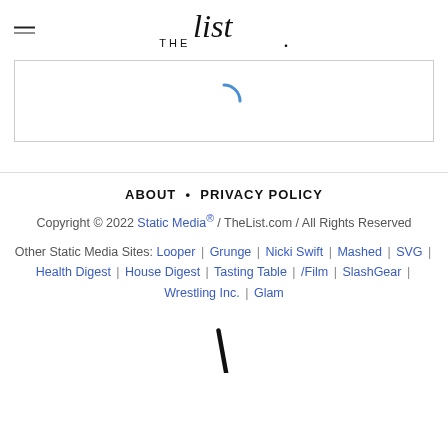THE list.
[Figure (other): Loading spinner arc (partial circle in blue) inside a bordered ad placeholder box]
ABOUT • PRIVACY POLICY
Copyright © 2022 Static Media® / TheList.com / All Rights Reserved
Other Static Media Sites: Looper | Grunge | Nicki Swift | Mashed | SVG | Health Digest | House Digest | Tasting Table | /Film | SlashGear | Wrestling Inc. | Glam
[Figure (logo): Partial view of 'The List' script logo at bottom of page]